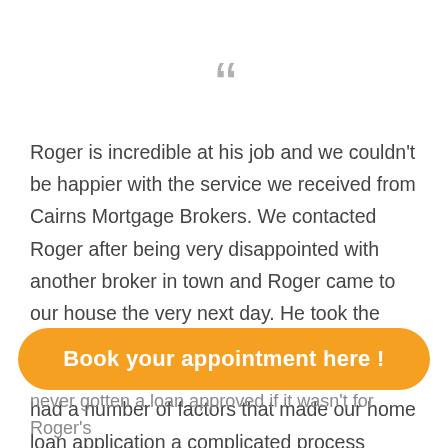[Figure (illustration): Large decorative open quotation mark in gray]
Roger is incredible at his job and we couldn't be happier with the service we received from Cairns Mortgage Brokers. We contacted Roger after being very disappointed with another broker in town and Roger came to our house the very next day. He took the time to get to know us and looked carefully at our paperwork and financial details. We had a number of factors that made our home loan application a complicated process
Book your appointment here !
never gotten a loan approved if it wasn't for Roger's